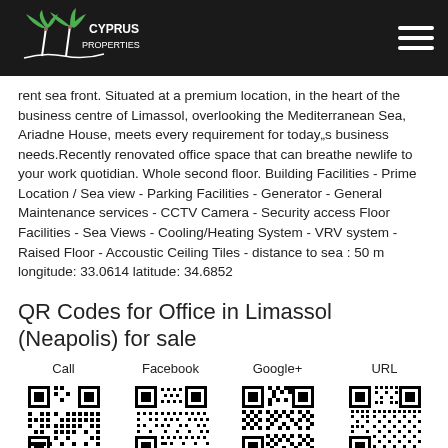Cyprus Properties
rent sea front. Situated at a premium location, in the heart of the business centre of Limassol, overlooking the Mediterranean Sea, Ariadne House, meets every requirement for today„s business needs.Recently renovated office space that can breathe newlife to your work quotidian. Whole second floor. Building Facilities - Prime Location / Sea view - Parking Facilities - Generator - General Maintenance services - CCTV Camera - Security access Floor Facilities - Sea Views - Cooling/Heating System - VRV system - Raised Floor - Accoustic Ceiling Tiles - distance to sea : 50 m longitude: 33.0614 latitude: 34.6852
QR Codes for Office in Limassol (Neapolis) for sale
Call    Facebook    Google+    URL
[Figure (other): Four QR codes side by side labeled Call, Facebook, Google+, and URL for Office in Limassol (Neapolis) for sale]